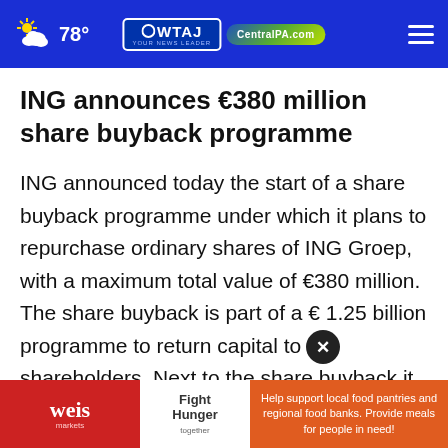78° WTAJ CentralPA.com
ING announces €380 million share buyback programme
ING announced today the start of a share buyback programme under which it plans to repurchase ordinary shares of ING Groep, with a maximum total value of €380 million. The share buyback is part of a € 1.25 billion programme to return capital to our shareholders. Next to the share buyback it consists of a €870 million cash divide...